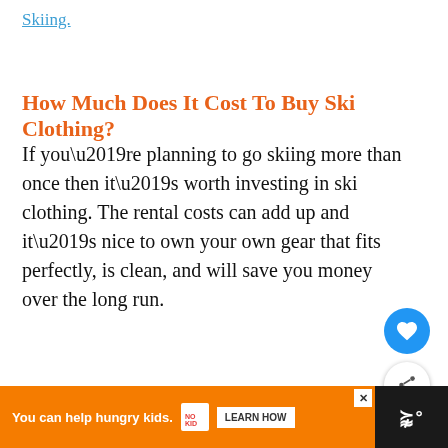Skiing.
How Much Does It Cost To Buy Ski Clothing?
If you’re planning to go skiing more than once then it’s worth investing in ski clothing. The rental costs can add up and it’s nice to own your own gear that fits perfectly, is clean, and will save you money over the long run.
[Figure (infographic): Blue circular heart/like button icon]
[Figure (infographic): White circular share button icon with share symbol]
[Figure (infographic): What's Next card with thumbnail image and text 'How Much Do Skis Cost?...']
[Figure (infographic): Advertisement banner: orange background, 'You can help hungry kids.' No Kid Hungry logo, LEARN HOW button, close X button, and Tubi logo on dark right side]